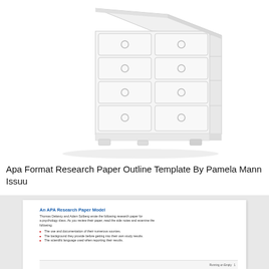[Figure (illustration): Illustration of a white/light grey wooden dresser with multiple drawers and round ring handles, shown in a 3D perspective view on a white background.]
Apa Format Research Paper Outline Template By Pamela Mann Issuu
[Figure (screenshot): Screenshot of a document page titled 'An APA Research Paper Model'. Contains body text describing Thomas Delancy and Adam Solberg's research paper for a psychology class, followed by a bullet list with three items: 'The use and documentation of their numerous sources.', 'The background they provide before getting into their own study results.', 'The scientific language used when reporting their results.' A partial footer bar is visible at the bottom with text 'Running on Empty 1'.]